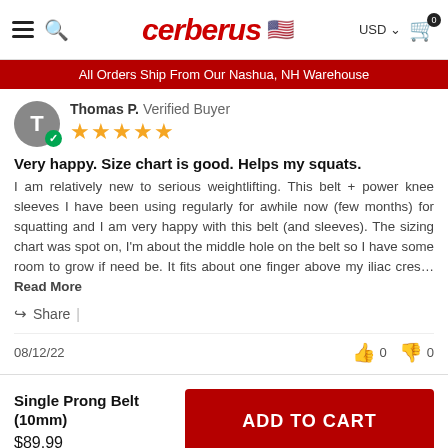cerberus — All Orders Ship From Our Nashua, NH Warehouse — USD — Cart 0
Thomas P. Verified Buyer — 5 stars
Very happy. Size chart is good. Helps my squats.
I am relatively new to serious weightlifting. This belt + power knee sleeves I have been using regularly for awhile now (few months) for squatting and I am very happy with this belt (and sleeves). The sizing chart was spot on, I'm about the middle hole on the belt so I have some room to grow if need be. It fits about one finger above my iliac cres…Read More
Share |
08/12/22    👍 0   👎 0
Single Prong Belt (10mm)
$89.99
ADD TO CART